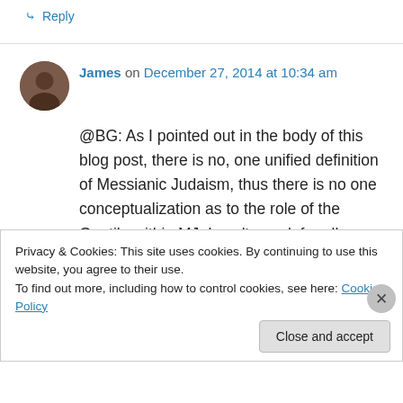↳ Reply
[Figure (photo): Circular avatar photo of a person]
James on December 27, 2014 at 10:34 am
@BG: As I pointed out in the body of this blog post, there is no, one unified definition of Messianic Judaism, thus there is no one conceptualization as to the role of the Gentile within MJ. I can't speak for all non-Jews associated with the movement, but for my part, it's a matter of respect. If we are to consider
Privacy & Cookies: This site uses cookies. By continuing to use this website, you agree to their use.
To find out more, including how to control cookies, see here: Cookie Policy
Close and accept